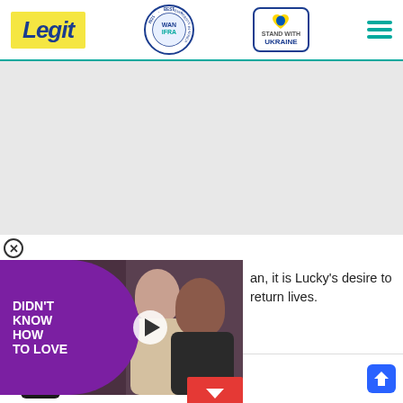Legit | WAN-IFRA 2021 Best News Website in Africa | Stand with Ukraine
[Figure (screenshot): Gray advertisement placeholder area]
[Figure (screenshot): Video overlay with purple blob text: DIDN'T KNOW HOW TO LOVE, play button, and a couple photo]
an, it is Lucky's desire to return lives.
autonomous remote control
[Figure (screenshot): Bottom advertisement banner with food icon, Dine-in and Curbside pickup text, and navigation arrow icon]